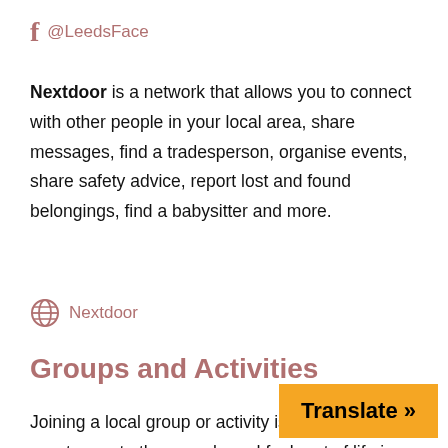@LeedsFace
Nextdoor is a network that allows you to connect with other people in your local area, share messages, find a tradesperson, organise events, share safety advice, report lost and found belongings, find a babysitter and more.
Nextdoor
Groups and Activities
Joining a local group or activity is a really good way to meet other people and feel part of life in Leeds. There are lots of groups that offer opportunities to get involved in your local community,